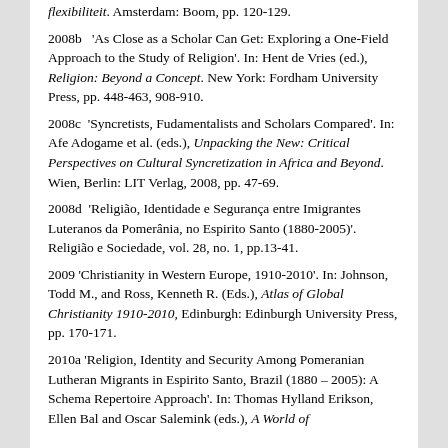flexibiliteit. Amsterdam: Boom, pp. 120-129.
2008b  'As Close as a Scholar Can Get: Exploring a One-Field Approach to the Study of Religion'. In: Hent de Vries (ed.), Religion: Beyond a Concept. New York: Fordham University Press, pp. 448-463, 908-910.
2008c  'Syncretists, Fudamentalists and Scholars Compared'. In: Afe Adogame et al. (eds.), Unpacking the New: Critical Perspectives on Cultural Syncretization in Africa and Beyond. Wien, Berlin: LIT Verlag, 2008, pp. 47-69.
2008d  'Religião, Identidade e Segurança entre Imigrantes Luteranos da Pomerânia, no Espirito Santo (1880-2005)'. Religião e Sociedade, vol. 28, no. 1, pp.13-41.
2009 'Christianity in Western Europe, 1910-2010'. In: Johnson, Todd M., and Ross, Kenneth R. (Eds.), Atlas of Global Christianity 1910-2010, Edinburgh: Edinburgh University Press, pp. 170-171.
2010a 'Religion, Identity and Security Among Pomeranian Lutheran Migrants in Espirito Santo, Brazil (1880 – 2005): A Schema Repertoire Approach'. In: Thomas Hylland Erikson, Ellen Bal and Oscar Salemink (eds.), A World of